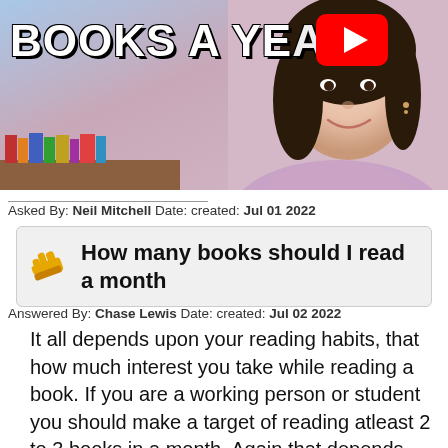[Figure (screenshot): YouTube video thumbnail showing a woman with dark hair in a purple top, with text 'BOOKS A YEAR' in bold white letters with black outline, and a YouTube play button in the top right corner. Bookshelf visible in background.]
Asked By: Neil Mitchell Date: created: Jul 01 2022
How many books should I read a month
Answered By: Chase Lewis Date: created: Jul 02 2022
It all depends upon your reading habits, that how much interest you take while reading a book. If you are a working person or student you should make a target of reading atleast 2 to 3 books in a month. Again that depends what kind of books you read.